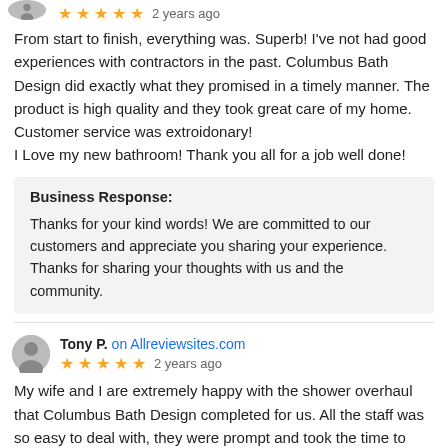From start to finish, everything was. Superb! I've not had good experiences with contractors in the past. Columbus Bath Design did exactly what they promised in a timely manner. The product is high quality and they took great care of my home. Customer service was extroidonary!
I Love my new bathroom! Thank you all for a job well done!
Business Response:
Thanks for your kind words! We are committed to our customers and appreciate you sharing your experience. Thanks for sharing your thoughts with us and the community.
Tony P. on Allreviewsites.com
★★★★★ 2 years ago
My wife and I are extremely happy with the shower overhaul that Columbus Bath Design completed for us. All the staff was so easy to deal with, they were prompt and took the time to educate us on the whole project. Thank you Michelle, staff and everyone at Columbus Bath for an amazing job and customer service you